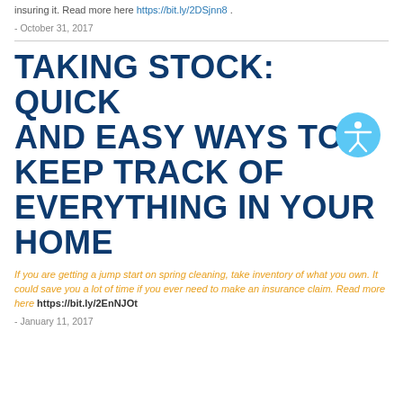insuring it. Read more here https://bit.ly/2DSjnn8 .
- October 31, 2017
TAKING STOCK: QUICK AND EASY WAYS TO KEEP TRACK OF EVERYTHING IN YOUR HOME
If you are getting a jump start on spring cleaning, take inventory of what you own. It could save you a lot of time if you ever need to make an insurance claim. Read more here https://bit.ly/2EnNJOt
- January 11, 2017